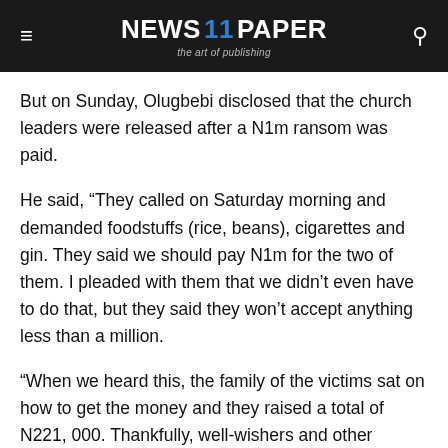NEWS 11 PAPER — the art of publishing
But on Sunday, Olugbebi disclosed that the church leaders were released after a N1m ransom was paid.
He said, “They called on Saturday morning and demanded foodstuffs (rice, beans), cigarettes and gin. They said we should pay N1m for the two of them. I pleaded with them that we didn’t even have to do that, but they said they won’t accept anything less than a million.
“When we heard this, the family of the victims sat on how to get the money and they raised a total of N221, 000. Thankfully, well-wishers and other church members balanced it up.
“They did not give a specific location where we should drop